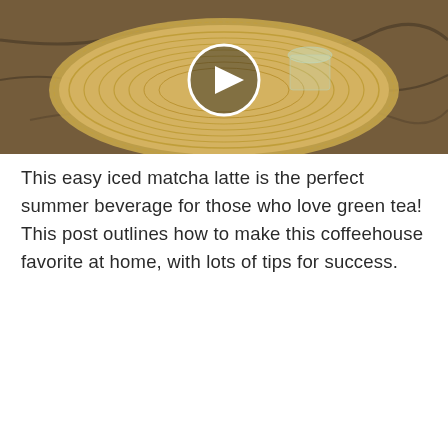[Figure (photo): A wicker/rattan placemat on a granite countertop with a glass on top, overlaid with a circular play button indicating a video thumbnail.]
This easy iced matcha latte is the perfect summer beverage for those who love green tea! This post outlines how to make this coffeehouse favorite at home, with lots of tips for success.